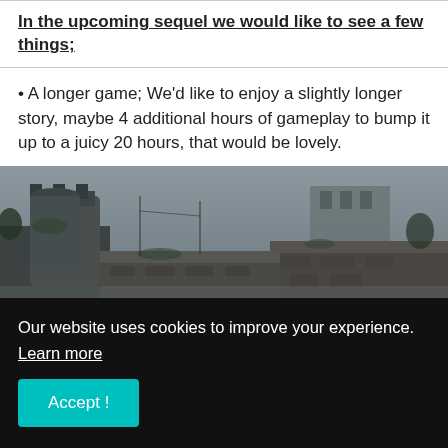In the upcoming sequel we would like to see a few things;
• A longer game; We'd like to enjoy a slightly longer story, maybe 4 additional hours of gameplay to bump it up to a juicy 20 hours, that would be lovely.
[Figure (photo): Dark atmospheric screenshot of a post-apocalyptic or war-torn urban environment with stone walls, watch towers, and a misty sky. A figure is visible in the lower right area.]
Our website uses cookies to improve your experience. Learn more
Accept !
• Better graphics; it's so hard to critique this game because it had next-level visuals, but we can't wait to